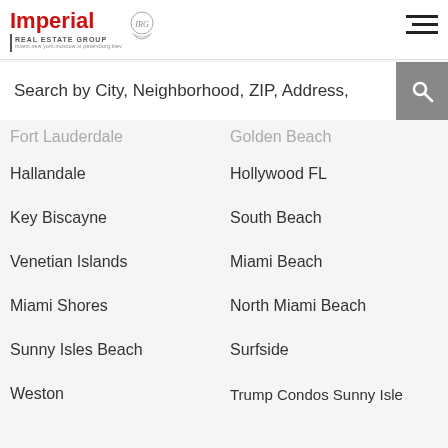[Figure (logo): Imperial Real Estate Group logo with red text and IRG emblem. Subtitle: miami.new york.moscow.st petersburg.kiev]
Search by City, Neighborhood, ZIP, Address,
Fort Lauderdale
Golden Beach
Hallandale
Hollywood FL
Key Biscayne
South Beach
Venetian Islands
Miami Beach
Miami Shores
North Miami Beach
Sunny Isles Beach
Surfside
Weston
Trump Condos Sunny Isle